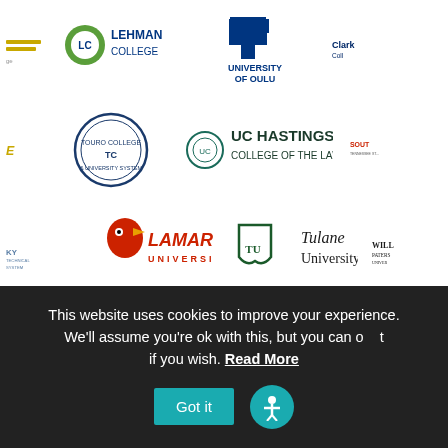[Figure (logo): Row of university logos: partial logo (clipped left), Lehman College logo with green/blue design, University of Oulu logo (blue cross), partial Clark College logo (clipped right)]
[Figure (logo): Row of university logos: partial logo (clipped left), Touro College & University System circular logo, UC Hastings College of the Law logo, South Tennessee logo (partially clipped right)]
[Figure (logo): Row of university logos: partial KY Technical System logo (clipped left), Lamar University logo with red cardinal, Tulane University logo with green shield, William Paterson University logo (partially clipped right)]
[Figure (logo): Row of university logos: University of Kentucky logo (partially clipped left), UC Riverside logo in blue/gold, University of California Santa Cruz logo (partially clipped right)]
This website uses cookies to improve your experience. We'll assume you're ok with this, but you can opt out if you wish. Read More
Got it